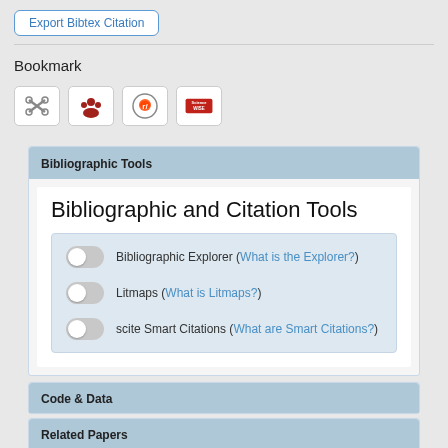Export Bibtex Citation
Bookmark
[Figure (screenshot): Four bookmark icon buttons: citeulike-style scissors, Mendeley-style people icon, Reddit alien icon, ScienceWISE logo]
Bibliographic Tools
Bibliographic and Citation Tools
Bibliographic Explorer (What is the Explorer?)
Litmaps (What is Litmaps?)
scite Smart Citations (What are Smart Citations?)
Code & Data
Related Papers